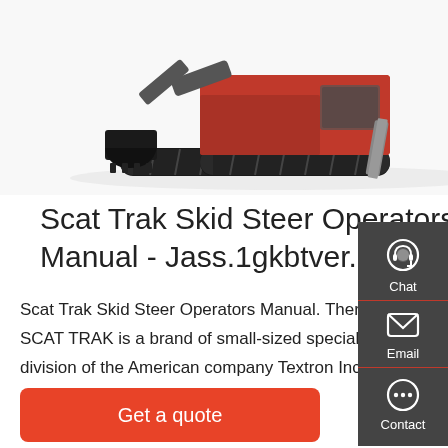[Figure (photo): Mini excavator / skid steer machine photographed from the side on a light background, showing tracks, bucket arm, and blade attachment.]
Scat Trak Skid Steer Operators Manual - Jass.1gkbtver.Ru
Scat Trak Skid Steer Operators Manual. Theres a SCAT TRAK Excavator Parts Manual PDF above the page. SCAT TRAK is a brand of small-sized special equipment (mini-loaders and mini-excavators) manufactured by a division of the American company Textron Inc. In, the production of skid steer loaders was acquired by Volvo CE. SCAT TRAK Skid Steer
Get a quote